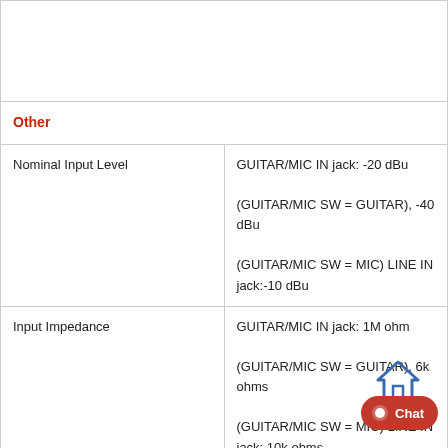|  |  |
| --- | --- |
|  |  |
| Other |  |
| Nominal Input Level | GUITAR/MIC IN jack: -20 dBu (GUITAR/MIC SW = GUITAR), -40 dBu (GUITAR/MIC SW = MIC) LINE IN jack:-10 dBu |
| Input Impedance | GUITAR/MIC IN jack: 1M ohm (GUITAR/MIC SW = GUITAR), 6k ohms (GUITAR/MIC SW = MIC) LINE IN jack: 10k ohms |
| Nominal Output Level | PHONES/LINE OUT jack: -14 dBu |
| Output Impedance | PHONES/LINE OUT jack: 22 ohms |